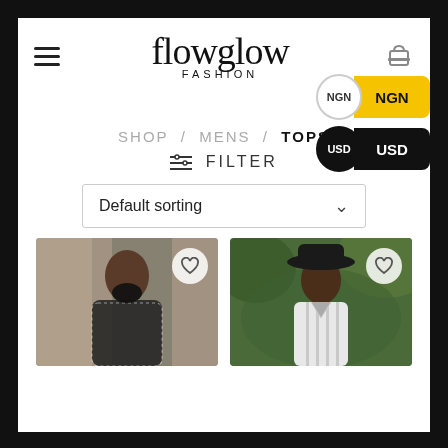[Figure (logo): Flowglow Fashion logo in script font with FASHION subtitle]
[Figure (infographic): NGN currency selector button highlighted in yellow]
[Figure (infographic): USD currency selector button in dark/black]
SHOP / MENS / TOPS
≡ FILTER
Default sorting
[Figure (photo): Man wearing black and white patterned shirt with black face mask, indoors]
[Figure (photo): Young man wearing wide-brim hat and white striped open shirt, outdoors with green foliage]